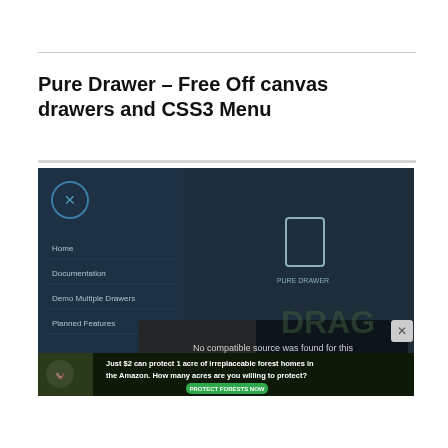Pure Drawer – Free Off canvas drawers and CSS3 Menu
[Figure (screenshot): Screenshot of Pure Drawer demo page showing a dark off-canvas drawer menu on the left with items Home, Documentation, Demo Multiple Drawers, Planned Features, and the main content area with a video player overlay showing 'No compatible source was found for this' and text 'Pure CSS transition effects for'. An advertisement banner at the bottom reads 'Just $2 can protect 1 acre of irreplaceable forest homes in the Amazon. How many acres are you willing to protect?' with a green button 'PROTECT FORESTS NOW'.]